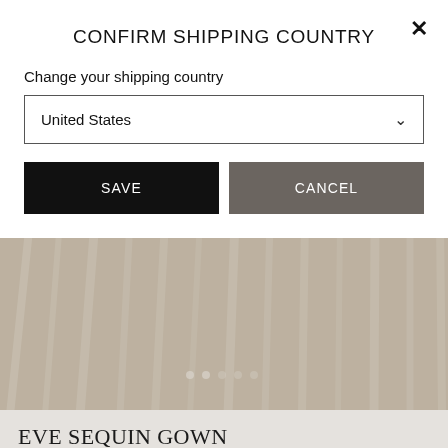CONFIRM SHIPPING COUNTRY
Change your shipping country
United States
SAVE
CANCEL
[Figure (photo): Partial view of a white/cream pleated sequin gown fabric on a wooden floor, dimmed by modal overlay]
EVE SEQUIN GOWN
£573.00
COLOUR: CHAMPAGNE